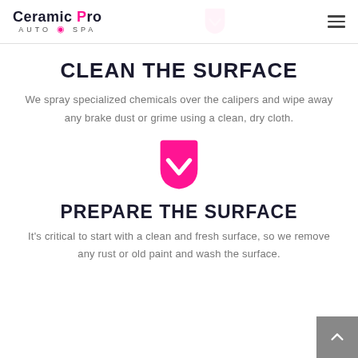Ceramic Pro Auto Spa
CLEAN THE SURFACE
We spray specialized chemicals over the calipers and wipe away any brake dust or grime using a clean, dry cloth.
[Figure (logo): Pocket/save icon in magenta/pink color]
PREPARE THE SURFACE
It's critical to start with a clean and fresh surface, so we remove any rust or old paint and wash the surface.